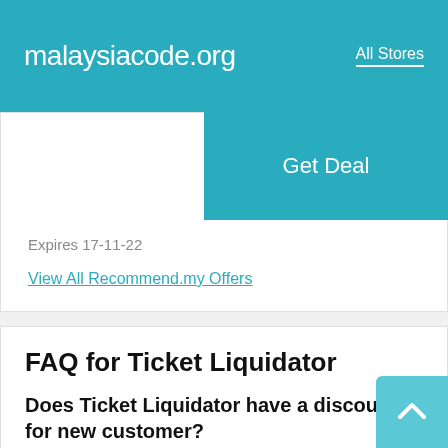malaysiacode.org    All Stores
Expires 17-11-22
View All Recommend.my Offers
Get Deal
FAQ for Ticket Liquidator
Does Ticket Liquidator have a discount for new customer?
Yes. You can get a discount for the first purchase in Ticket Liquidator. Just verify the identity of your new customer and you can get Ticket Liquidator Coupon especially prepared for you. At the same time, you